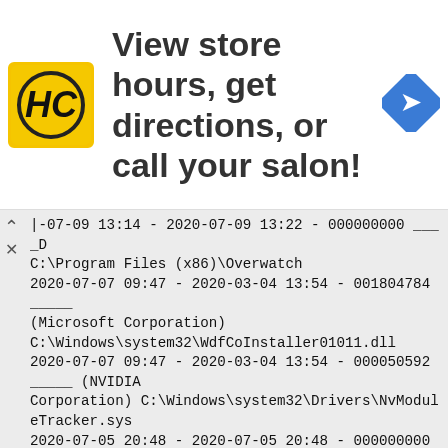[Figure (logo): HC logo yellow square with black HC text and black border circle]
View store hours, get directions, or call your salon!
[Figure (other): Blue diamond navigation arrow icon]
|-07-09 13:14 - 2020-07-09 13:22 - 000000000 ____D
C:\Program Files (x86)\Overwatch
2020-07-07 09:47 - 2020-03-04 13:54 - 001804784 _____
(Microsoft Corporation)
C:\Windows\system32\WdfCoInstaller01011.dll
2020-07-07 09:47 - 2020-03-04 13:54 - 000050592 _____ (NVIDIA Corporation) C:\Windows\system32\Drivers\NvModuleTracker.sys
2020-07-05 20:48 - 2020-07-05 20:48 - 000000000 ____D
C:\Users\cabec\AppData\LocalLow\Blizzard Entertainment
2020-07-05 20:48 - 2020-07-05 20:48 - 000000000 ____D
C:\Users\cabec\AppData\Local\Blizzard
2020-07-05 20:48 - 2020-07-05 20:48 - 000000000 ____D
C:\ProgramData\Microsoft\Windows\Start Menu\Programs\Hearthstone
2020-07-05 20:46 - 2020-07-05 20:48 - 000000000 ____D
C:\Program Files (x86)\Hearthstone
2020-06-29 20:44 - 2020-06-29 20:44 - 806409556 _____
C:\Users\cabec\Downloads\VIDEO RENDER.mp4